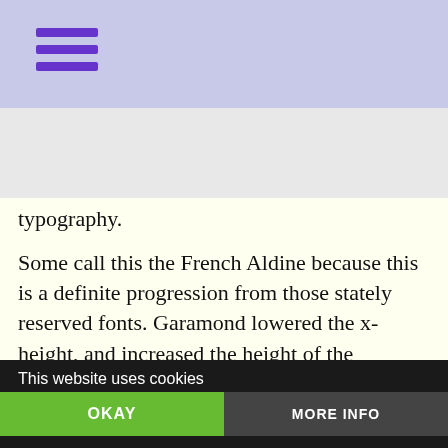[hamburger menu icon — purple]
[hamburger menu icon — gray]
typography.
Some call this the French Aldine because this is a definite progression from those stately reserved fonts. Garamond lowered the x-height, and increased the height of the ascenders up and the height of the descenders down. The result was a classic font design that became the standard in Europe for the next 150 years. Writers wax rhapsodic about the majestic airiness & the like.
One of Claude's major innovations was the design a co[mplementary]
This website uses cookies
OKAY
MORE INFO